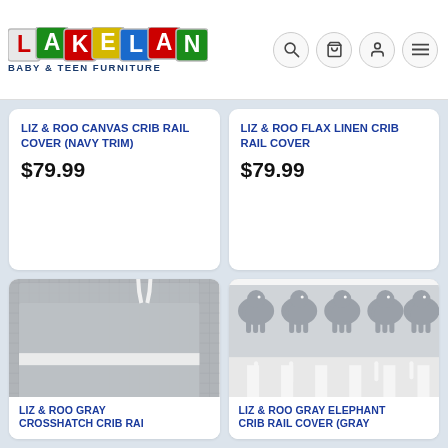Lakeland Baby & Teen Furniture
LIZ & ROO CANVAS CRIB RAIL COVER (NAVY TRIM)
$79.99
LIZ & ROO FLAX LINEN CRIB RAIL COVER
$79.99
[Figure (photo): Gray crosshatch fabric crib rail cover with white bow tie detail, folded on white surface]
LIZ & ROO GRAY CROSSHATCH CRIB RAIL COVER (partially visible)
[Figure (photo): White crib with gray elephant print crib rail cover attached, showing elephant silhouettes and white tie ribbons]
LIZ & ROO GRAY ELEPHANT CRIB RAIL COVER (GRAY) (partially visible)